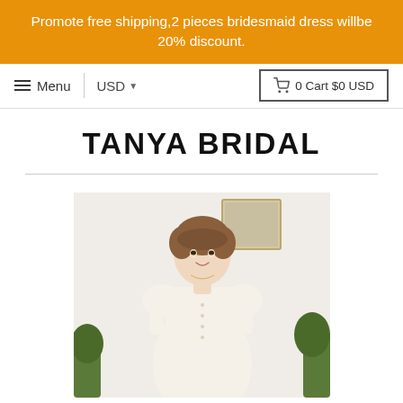Promote free shipping,2 pieces bridesmaid dress willbe 20% discount.
≡ Menu   USD ▾   🛒 0 Cart $0 USD
TANYA BRIDAL
[Figure (photo): Young woman wearing a cream/ivory puff-sleeve midi dress with button front detail, standing in a bright room with plants in the background.]